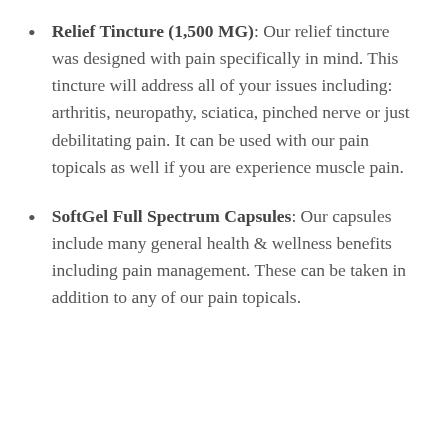Relief Tincture (1,500 MG): Our relief tincture was designed with pain specifically in mind. This tincture will address all of your issues including: arthritis, neuropathy, sciatica, pinched nerve or just debilitating pain. It can be used with our pain topicals as well if you are experience muscle pain.
SoftGel Full Spectrum Capsules: Our capsules include many general health & wellness benefits including pain management. These can be taken in addition to any of our pain topicals.